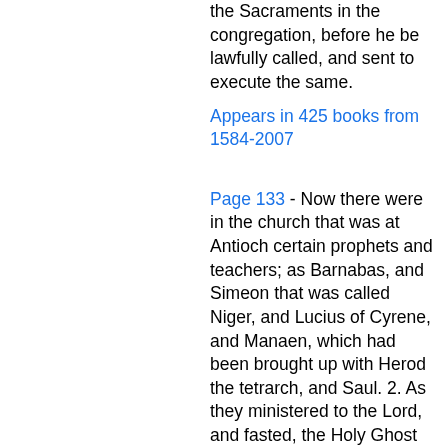the Sacraments in the congregation, before he be lawfully called, and sent to execute the same.
Appears in 425 books from 1584-2007
Page 133 - Now there were in the church that was at Antioch certain prophets and teachers; as Barnabas, and Simeon that was called Niger, and Lucius of Cyrene, and Manaen, which had been brought up with Herod the tetrarch, and Saul. 2. As they ministered to the Lord, and fasted, the Holy Ghost said, Separate me Barnabas